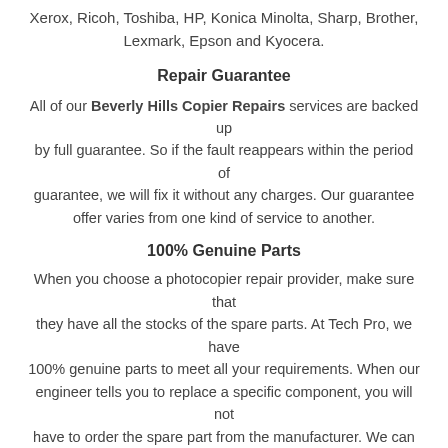Xerox, Ricoh, Toshiba, HP, Konica Minolta, Sharp, Brother, Lexmark, Epson and Kyocera.
Repair Guarantee
All of our Beverly Hills Copier Repairs services are backed up by full guarantee. So if the fault reappears within the period of guarantee, we will fix it without any charges. Our guarantee offer varies from one kind of service to another.
100% Genuine Parts
When you choose a photocopier repair provider, make sure that they have all the stocks of the spare parts. At Tech Pro, we have 100% genuine parts to meet all your requirements. When our engineer tells you to replace a specific component, you will not have to order the spare part from the manufacturer. We can fix the issue on the spot by providing all types of parts and all are 100% original.